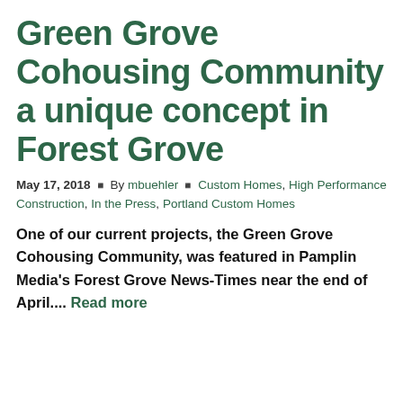Green Grove Cohousing Community a unique concept in Forest Grove
May 17, 2018 · By mbuehler · Custom Homes, High Performance Construction, In the Press, Portland Custom Homes
One of our current projects, the Green Grove Cohousing Community, was featured in Pamplin Media's Forest Grove News-Times near the end of April.... Read more